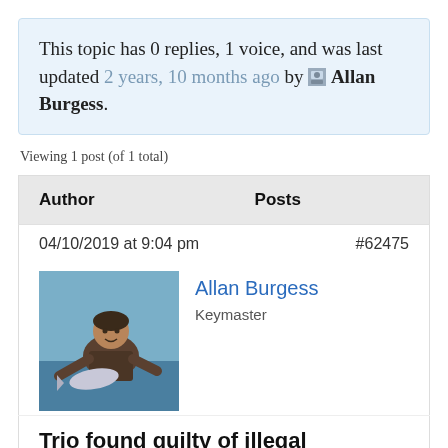This topic has 0 replies, 1 voice, and was last updated 2 years, 10 months ago by Allan Burgess.
Viewing 1 post (of 1 total)
| Author | Posts |
| --- | --- |
| 04/10/2019 at 9:04 pm | #62475 |
| Allan Burgess
Keymaster |  |
| Trio found guilty of illegal whitebaiting in Fiordland National Park |  |
Trio found guilty of illegal whitebaiting in Fiordland National Park